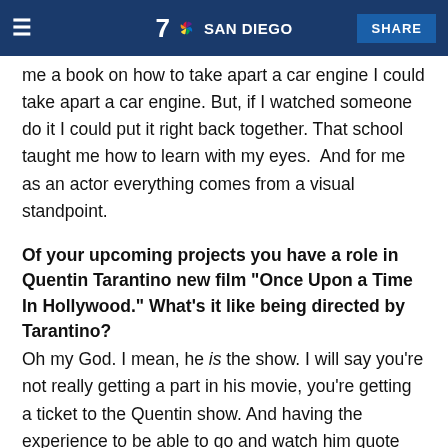7 SAN DIEGO  SHARE
me a book on how to take apart a car engine I could take apart a car engine. But, if I watched someone do it I could put it right back together. That school taught me how to learn with my eyes.  And for me as an actor everything comes from a visual standpoint.
Of your upcoming projects you have a role in Quentin Tarantino new film "Once Upon a Time In Hollywood." What's it like being directed by Tarantino?
Oh my God. I mean, he is the show. I will say you're not really getting a part in his movie, you're getting a ticket to the Quentin show. And having the experience to be able to go and watch him quote movies and see the actual cinephile encyclopedia at work. What comes out of his mouth and the knowledge and the names of like somebody who had a guest star role in something with two lines back in 1962. He knows the lines. He knows the guy's name. It's incredible. So having